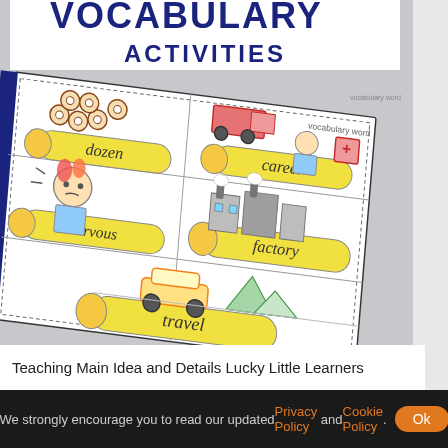VOCABULARY ACTIVITIES
[Figure (illustration): A vocabulary worksheet showing pencil-shaped labels with words: dozen, career, nervous, factory, travel, with corresponding student drawings. The worksheet is shown at an angle as if photographed.]
Teaching Main Idea and Details Lucky Little Learners
We strongly encourage you to read our updated Privacy Policy and Cookie Policy. Ok